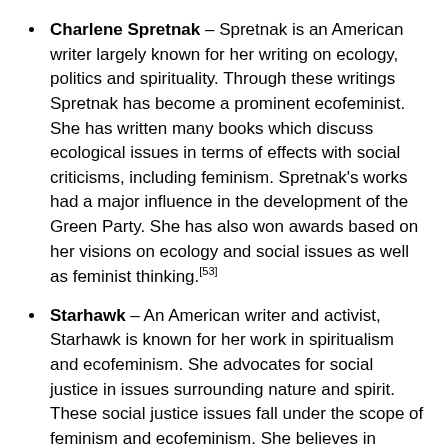Charlene Spretnak – Spretnak is an American writer largely known for her writing on ecology, politics and spirituality. Through these writings Spretnak has become a prominent ecofeminist. She has written many books which discuss ecological issues in terms of effects with social criticisms, including feminism. Spretnak's works had a major influence in the development of the Green Party. She has also won awards based on her visions on ecology and social issues as well as feminist thinking.[53]
Starhawk – An American writer and activist, Starhawk is known for her work in spiritualism and ecofeminism. She advocates for social justice in issues surrounding nature and spirit. These social justice issues fall under the scope of feminism and ecofeminism. She believes in fighting oppression through intersectionality and the importance of